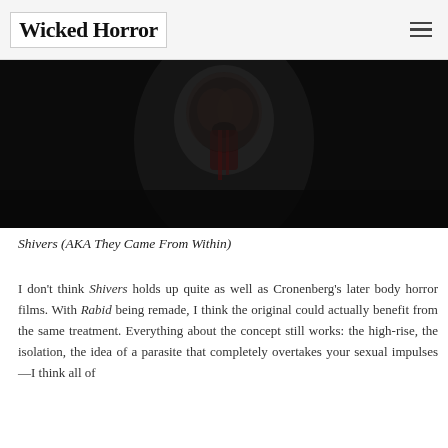Wicked Horror
[Figure (photo): Dark horror movie still showing a screaming figure with blood, from the film Shivers]
Shivers (AKA They Came From Within)
I don't think Shivers holds up quite as well as Cronenberg's later body horror films. With Rabid being remade, I think the original could actually benefit from the same treatment. Everything about the concept still works: the high-rise, the isolation, the idea of a parasite that completely overtakes your sexual impulses—I think all of